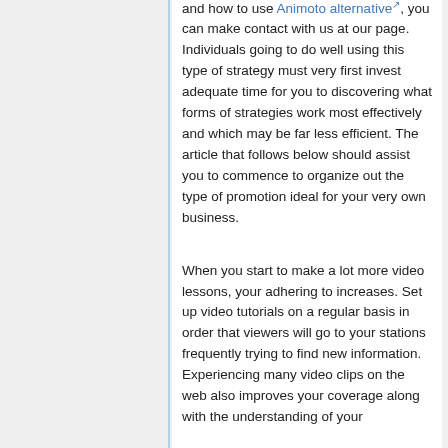and how to use Animoto alternative, you can make contact with us at our page. Individuals going to do well using this type of strategy must very first invest adequate time for you to discovering what forms of strategies work most effectively and which may be far less efficient. The article that follows below should assist you to commence to organize out the type of promotion ideal for your very own business.
When you start to make a lot more video lessons, your adhering to increases. Set up video tutorials on a regular basis in order that viewers will go to your stations frequently trying to find new information. Experiencing many video clips on the web also improves your coverage along with the understanding of your...